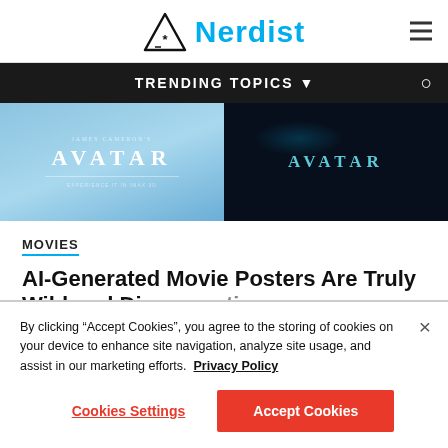Nerdist
[Figure (screenshot): Nerdist website navigation bar with TRENDING TOPICS dropdown and search icon on dark background]
[Figure (photo): Two Avatar movie poster images side by side — left is light blue with 'JAMES CAMERON'S AVATAR' text, right is dark oceanic with 'AVATAR' text in teal]
MOVIES
AI-Generated Movie Posters Are Truly Wild and Disconcerting
By clicking “Accept Cookies”, you agree to the storing of cookies on your device to enhance site navigation, analyze site usage, and assist in our marketing efforts. Privacy Policy
Cookies Settings
Accept Cookies